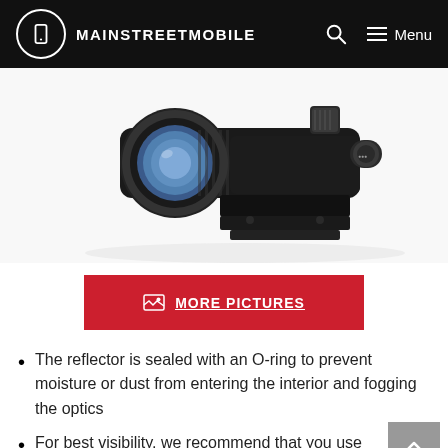MAINSTREETMOBILE
[Figure (photo): Close-up photo of a black tactical rifle scope/red dot sight with textured body, blue-tinted lens, and rail mount, on white background]
MORE PICTURES
The reflector is sealed with an O-ring to prevent moisture or dust from entering the interior and fogging the optics
For best visibility, we recommend that you use